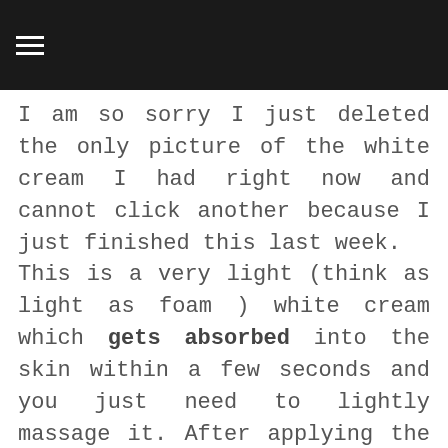≡
I am so sorry I just deleted the only picture of the white cream I had right now and cannot click another because I just finished this last week. This is a very light (think as light as foam ) white cream which gets absorbed into the skin within a few seconds and you just need to lightly massage it. After applying the skin feels slightly stretchy for a few minutes and then it feels normal. I would advise you to apply this a few minutes before going out in the
I would advise you to apply this a few minutes before going out in the